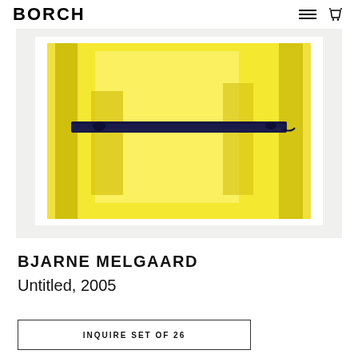BORCH
[Figure (photo): Abstract artwork showing yellow background with dark navy horizontal brushstroke and vertical shapes, framed in white mat on light gray background.]
BJARNE MELGAARD
Untitled, 2005
INQUIRE SET OF 26